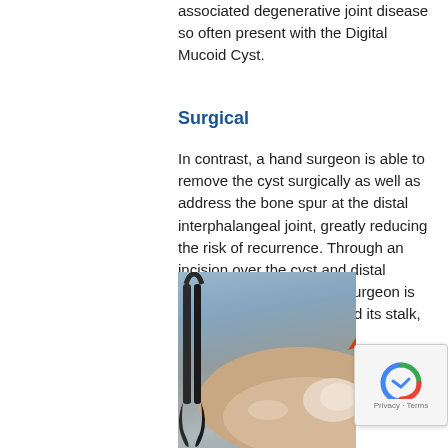associated degenerative joint disease so often present with the Digital Mucoid Cyst.
Surgical
In contrast, a hand surgeon is able to remove the cyst surgically as well as address the bone spur at the distal interphalangeal joint, greatly reducing the risk of recurrence. Through an incision over the cyst and distal interphalangeal joint, the surgeon is able to remove the cyst and its stalk, or pedicle, along with any osteophytes, or bone spurs, present which may have been the root cause of cyst formation.
[Figure (photo): Surgical photo showing a hand surgery procedure with metal retractor instruments, a labeled 'Extensor Tendon' annotation with red arrow pointing to the tendon, and blue surgical draping in background.]